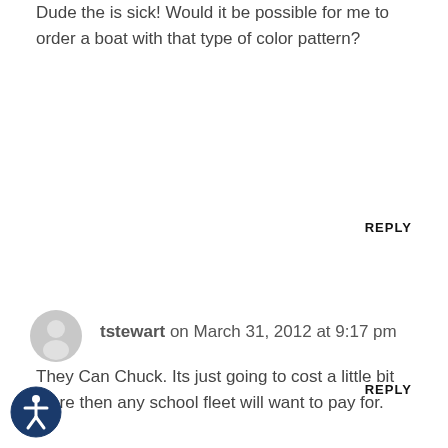Dude the is sick! Would it be possible for me to order a boat with that type of color pattern?
REPLY
tstewart on March 31, 2012 at 9:17 pm
They Can Chuck. Its just going to cost a little bit more then any school fleet will want to pay for.
REPLY
[Figure (logo): Accessibility icon - circular dark blue button with white human figure (universal accessibility symbol)]